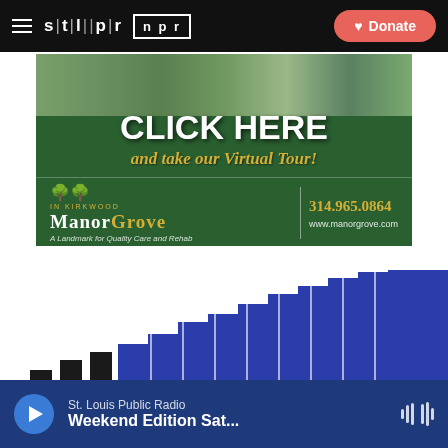stl|pr  npr  Donate
[Figure (advertisement): Manor Grove in Kirkwood advertisement on dark green background with house photo. Text reads: CLICK HERE and take our Virtual Tour! Manor Grove In Kirkwood - A Landmark for Quality Care and Rehab. Phone: 314.965.0864. Website: www.manorgrove.com]
[Figure (illustration): Rising stepped bars graphic in black and dark blue/purple colors, suggesting a bar chart or decorative rising staircase pattern]
St. Louis Public Radio  Weekend Edition Sat...